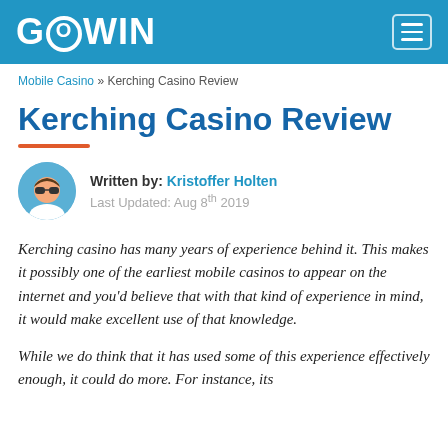GOWIN
Mobile Casino » Kerching Casino Review
Kerching Casino Review
Written by: Kristoffer Holten
Last Updated: Aug 8th 2019
Kerching casino has many years of experience behind it. This makes it possibly one of the earliest mobile casinos to appear on the internet and you'd believe that with that kind of experience in mind, it would make excellent use of that knowledge.
While we do think that it has used some of this experience effectively enough, it could do more. For instance, its